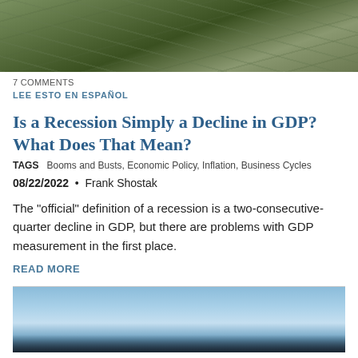[Figure (photo): Overhead view of scattered US dollar bills, money pile]
7 COMMENTS
LEE ESTO EN ESPAÑOL
Is a Recession Simply a Decline in GDP? What Does That Mean?
TAGS   Booms and Busts, Economic Policy, Inflation, Business Cycles
08/22/2022 • Frank Shostak
The "official" definition of a recession is a two-consecutive-quarter decline in GDP, but there are problems with GDP measurement in the first place.
READ MORE
[Figure (photo): Close-up of an airplane wing or cockpit exterior against a blue sky]